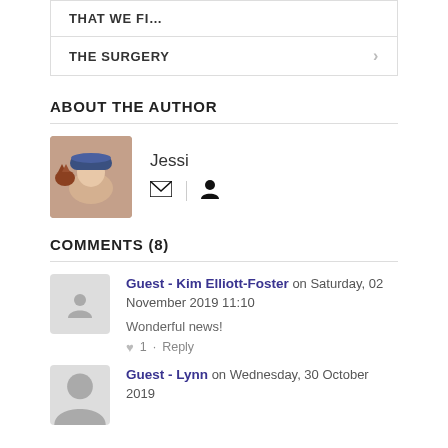THAT WE FI...
THE SURGERY
ABOUT THE AUTHOR
[Figure (photo): Author photo of Jessi with a hat and an animal]
Jessi
COMMENTS (8)
Guest - Kim Elliott-Foster on Saturday, 02 November 2019 11:10
Wonderful news!
1 · Reply
Guest - Lynn on Wednesday, 30 October 2019